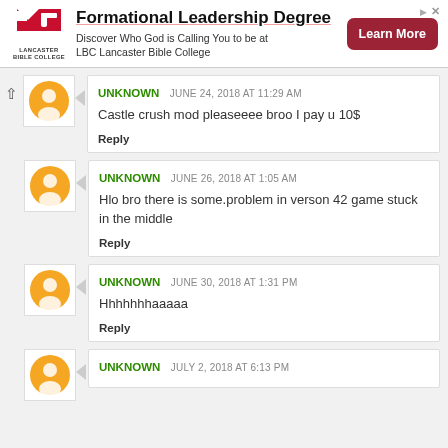[Figure (infographic): Advertisement banner for Lancaster Bible College Formational Leadership Degree with logo, text, and Learn More button]
UNKNOWN  JUNE 24, 2018 AT 11:29 AM
Castle crush mod pleaseeee broo I pay u 10$
Reply
UNKNOWN  JUNE 26, 2018 AT 1:05 AM
Hlo bro there is some.problem in verson 42 game stuck in the middle
Reply
UNKNOWN  JUNE 30, 2018 AT 1:31 PM
Hhhhhhhaaaaa
Reply
UNKNOWN  JULY 2, 2018 AT 6:13 PM